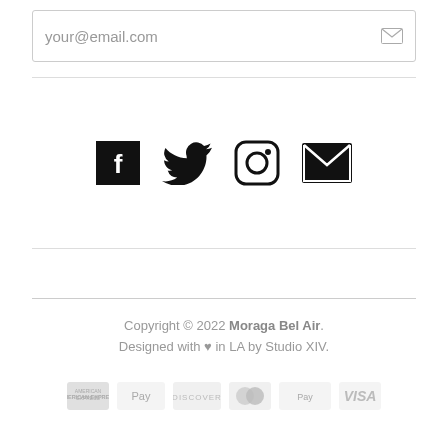your@email.com
[Figure (infographic): Social media icons: Facebook, Twitter, Instagram, Email]
Copyright © 2022 Moraga Bel Air. Designed with ♥ in LA by Studio XIV.
[Figure (infographic): Payment method logos: American Express, Apple Pay, Discover, Mastercard, Shopify Pay, Visa]